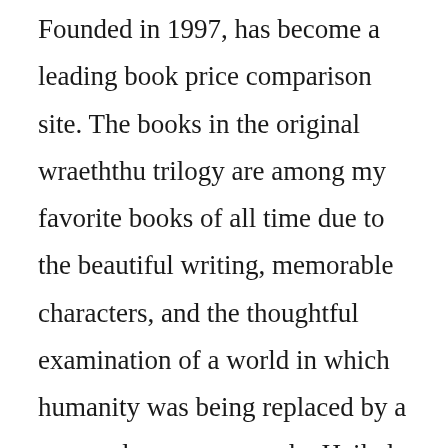Founded in 1997, has become a leading book price comparison site. The books in the original wraeththu trilogy are among my favorite books of all time due to the beautiful writing, memorable characters, and the thoughtful examination of a world in which humanity was being replaced by a new androgynous people. Hailed as a literary fantasist of outstanding power and originality by michael moorcock and a mythmaking gothic queen. Wraeththu storm constantine works archive of our own. Read the shades of time and memory the second book of the